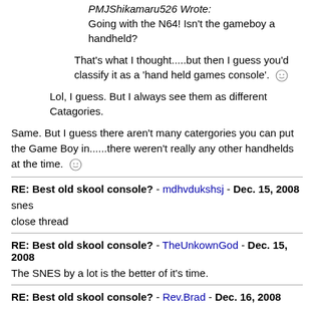PMJShikamaru526 Wrote:
Going with the N64! Isn't the gameboy a handheld?
That's what I thought.....but then I guess you'd classify it as a 'hand held games console'. :-)
Lol, I guess. But I always see them as different Catagories.
Same. But I guess there aren't many catergories you can put the Game Boy in......there weren't really any other handhelds at the time. :-)
RE: Best old skool console? - mdhvdukshsj - Dec. 15, 2008
snes
close thread
RE: Best old skool console? - TheUnkownGod - Dec. 15, 2008
The SNES by a lot is the better of it's time.
RE: Best old skool console? - Rev.Brad - Dec. 16, 2008